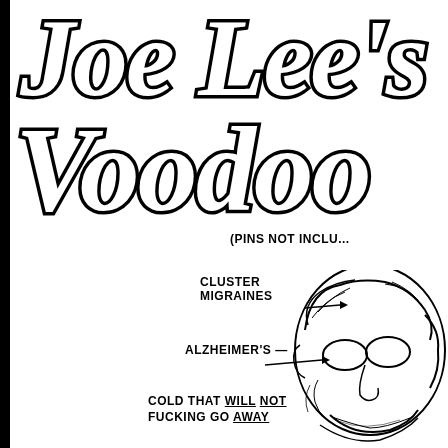[Figure (illustration): Stylized cursive hand-lettered title text reading 'Joe Lee's Voodoo' in large decorative script with thick black outlines on white background, partially cropped at right edge]
(PINS NOT INCLU...
[Figure (illustration): Cartoon illustration of an elderly man's face with labeled ailments: CLUSTER MIGRAINES pointing to head, ALZHEIMER'S pointing to eyes/face area, COLD THAT WILL NOT FUCKING GO AWAY at bottom]
CLUSTER MIGRAINES
ALZHEIMER'S
COLD THAT WILL NOT FUCKING GO AWAY